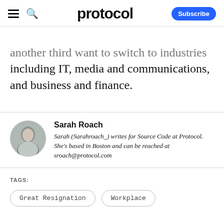protocol  Subscribe
another third want to switch to industries including IT, media and communications, and business and finance.
Sarah Roach
Sarah (Sarahroach_) writes for Source Code at Protocol. She's based in Boston and can be reached at sroach@protocol.com
TAGS:
Great Resignation
Workplace